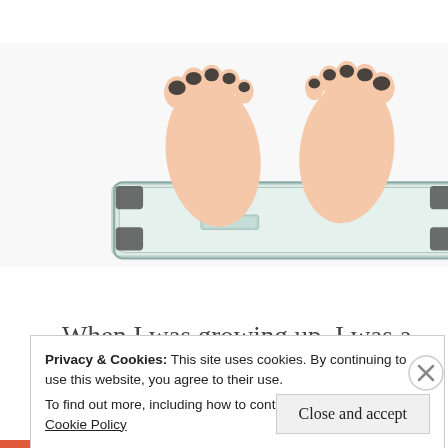[Figure (photo): A person's feet standing on a glass bathroom scale viewed from above, with dark painted toenails on a white background.]
When I was growing up, I was a skinny mini.  I never dreamed that I would become overweight.  But, honestly, shortly after high school, I started putting
Privacy & Cookies: This site uses cookies. By continuing to use this website, you agree to their use.
To find out more, including how to control cookies, see here: Cookie Policy
Close and accept